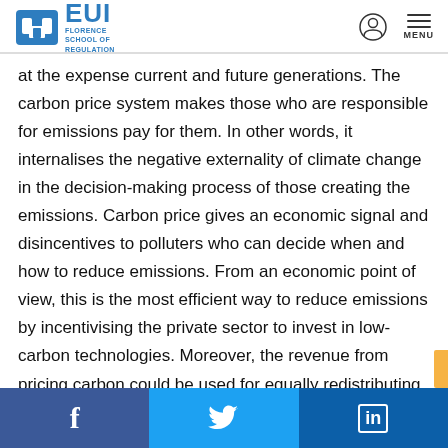EUI Florence School of Regulation
at the expense current and future generations. The carbon price system makes those who are responsible for emissions pay for them. In other words, it internalises the negative externality of climate change in the decision-making process of those creating the emissions. Carbon price gives an economic signal and disincentives to polluters who can decide when and how to reduce emissions. From an economic point of view, this is the most efficient way to reduce emissions by incentivising the private sector to invest in low-carbon technologies. Moreover, the revenue from pricing carbon could be used for equally redistributing the cost of mitigation and
Facebook  Twitter  LinkedIn